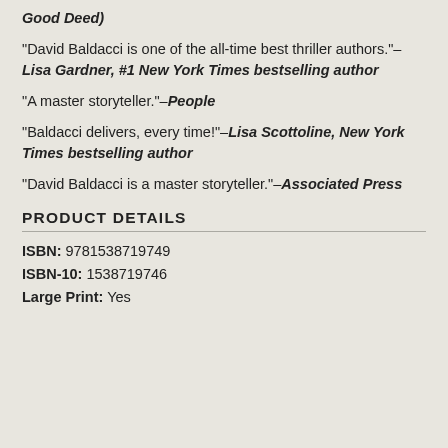Good Deed)
"David Baldacci is one of the all-time best thriller authors."—Lisa Gardner, #1 New York Times bestselling author
"A master storyteller."—People
"Baldacci delivers, every time!"—Lisa Scottoline, New York Times bestselling author
"David Baldacci is a master storyteller."—Associated Press
PRODUCT DETAILS
ISBN: 9781538719749
ISBN-10: 1538719746
Large Print: Yes